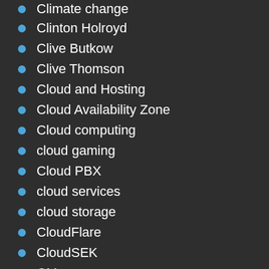Climate change
Clinton Holroyd
Clive Butkow
Clive Thomson
Cloud and Hosting
Cloud Availability Zone
Cloud computing
cloud gaming
Cloud PBX
cloud services
cloud storage
CloudFlare
CloudSEK
CM.com
CNBC